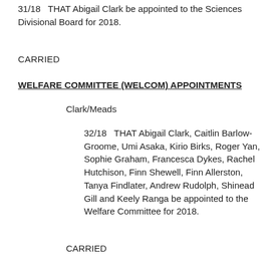31/18  THAT Abigail Clark be appointed to the Sciences Divisional Board for 2018.
CARRIED
WELFARE COMMITTEE (WELCOM) APPOINTMENTS
Clark/Meads
32/18  THAT Abigail Clark, Caitlin Barlow-Groome, Umi Asaka, Kirio Birks, Roger Yan, Sophie Graham, Francesca Dykes, Rachel Hutchison, Finn Shewell, Finn Allerston, Tanya Findlater, Andrew Rudolph, Shinead Gill and Keely Ranga be appointed to the Welfare Committee for 2018.
CARRIED